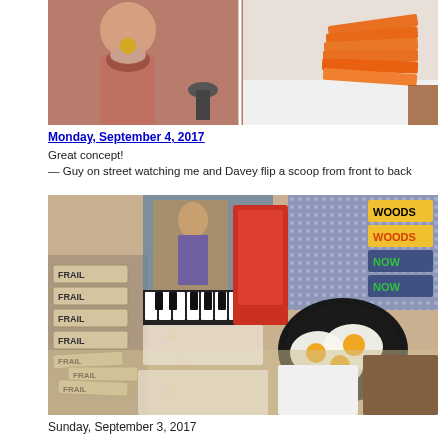[Figure (photo): Two photos side by side: left shows a person holding a scoop/bowl, right shows orange objects stacked on a white table]
Monday, September 4, 2017
Great concept!
— Guy on street watching me and Davey flip a scoop from front to back
[Figure (photo): Art installation or workshop display with collaged cards, images, text, eggs frying in pan, and the word FRAIL repeated on signs]
Sunday, September 3, 2017